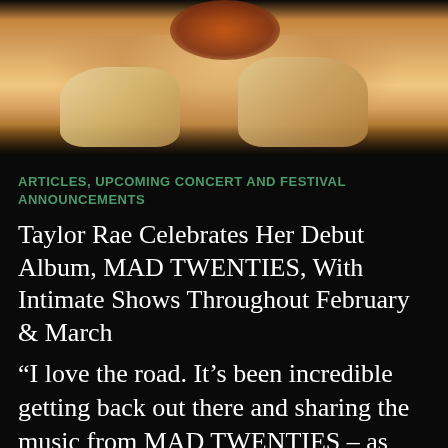[Figure (photo): Photo of a woman (Taylor Rae) sitting on a sofa holding a guitar, cropped to show lower body and guitar; dark background]
ARTICLES, UPCOMING CONCERT AND FESTIVAL ANNOUNCEMENTS
Taylor Rae Celebrates Her Debut Album, MAD TWENTIES, With Intimate Shows Throughout February & March
“I love the road. It’s been incredible getting back out there and sharing the music from MAD TWENTIES – as well as some of my older songs. These shows are all little celebrations for me. There was never a moment in my life where I had to decide what I wanted to